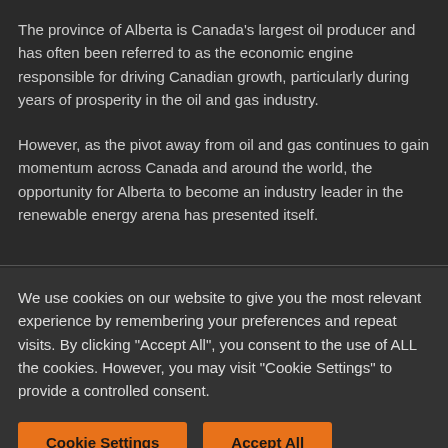The province of Alberta is Canada's largest oil producer and has often been referred to as the economic engine responsible for driving Canadian growth, particularly during years of prosperity in the oil and gas industry.
However, as the pivot away from oil and gas continues to gain momentum across Canada and around the world, the opportunity for Alberta to become an industry leader in the renewable energy arena has presented itself.
We use cookies on our website to give you the most relevant experience by remembering your preferences and repeat visits. By clicking "Accept All", you consent to the use of ALL the cookies. However, you may visit "Cookie Settings" to provide a controlled consent.